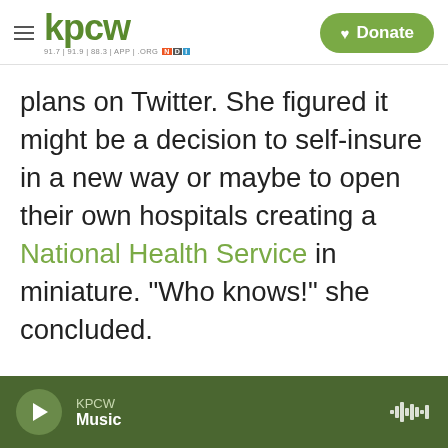KPCW | 91.7 | 91.9 | 88.3 | APP | .ORG | NPR | Donate
plans on Twitter. She figured it might be a decision to self-insure in a new way or maybe to open their own hospitals creating a National Health Service in miniature. "Who knows!" she concluded.
KPCW Music